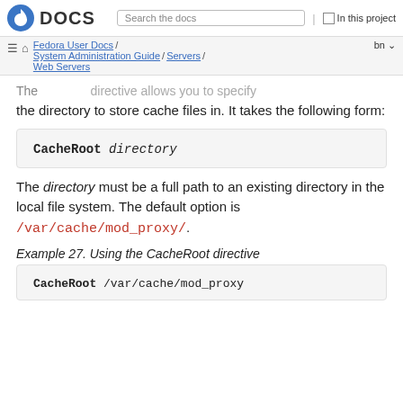Fedora DOCS | Search the docs | In this project
Fedora User Docs / System Administration Guide / Servers / Web Servers | bn
The CacheRoot directive allows you to specify the directory to store cache files in. It takes the following form:
The directory must be a full path to an existing directory in the local file system. The default option is /var/cache/mod_proxy/.
Example 27. Using the CacheRoot directive